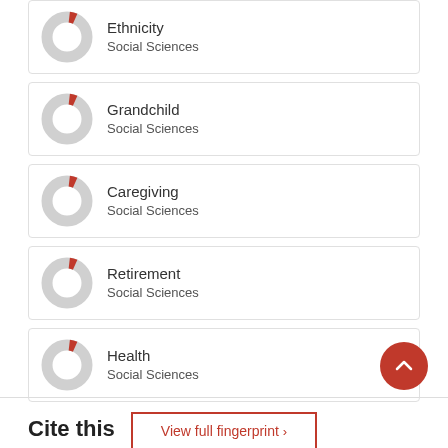[Figure (donut-chart): Partial donut chart icon for Ethnicity - Social Sciences]
Ethnicity
Social Sciences
[Figure (donut-chart): Partial donut chart icon for Grandchild - Social Sciences]
Grandchild
Social Sciences
[Figure (donut-chart): Partial donut chart icon for Caregiving - Social Sciences]
Caregiving
Social Sciences
[Figure (donut-chart): Partial donut chart icon for Retirement - Social Sciences]
Retirement
Social Sciences
[Figure (donut-chart): Partial donut chart icon for Health - Social Sciences]
Health
Social Sciences
View full fingerprint ›
Cite this